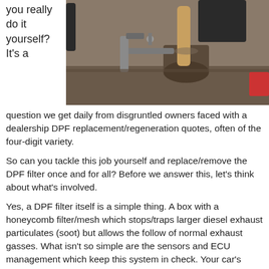you really do it yourself? It’s a question we get daily from disgruntled owners faced with a dealership DPF replacement/regeneration quotes, often of the four-digit variety.
[Figure (photo): A diesel particulate filter (DPF) being worked on with tools on a workshop bench, showing a large cylindrical exhaust component being held in a vise or clamp.]
So can you tackle this job yourself and replace/remove the DPF filter once and for all? Before we answer this, let’s think about what’s involved.
Yes, a DPF filter itself is a simple thing. A box with a honeycomb filter/mesh which stops/traps larger diesel exhaust particulates (soot) but allows the follow of normal exhaust gasses. What isn’t so simple are the sensors and ECU management which keep this system in check. Your car’s ECU is constantly monitoring the DPF sensors, checking back pressure and ensuring that